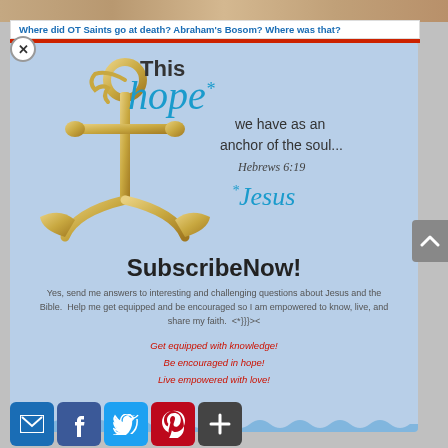[Figure (photo): Top photo strip showing a person, cropped]
Where did OT Saints go at death? Abraham's Bosom? Where was that?
[Figure (illustration): Blue card with anchor illustration and Bible verse. Text reads: This hope* we have as an anchor of the soul... Hebrews 6:19. *Jesus]
SubscribeNow!
Yes, send me answers to interesting and challenging questions about Jesus and the Bible.  Help me get equipped and be encouraged so I am empowered to know, live, and share my faith.  <*}}}><
Get equipped with knowledge!
Be encouraged in hope!
Live empowered with love!
[Figure (infographic): Social sharing buttons: Email, Facebook, Twitter, Pinterest, Plus]